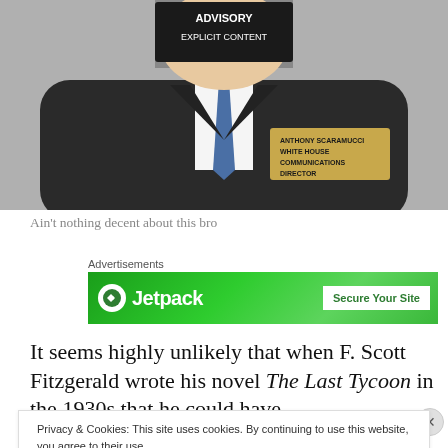[Figure (illustration): Political cartoon showing a man in a dark suit with a nameplate reading 'ANTHONY SCARAMUCCI WHITE HOUSE COMMUNICATIONS DIRECTOR' and an 'ADVISORY EXPLICIT CONTENT' label covering his face.]
Ain't nothing decent about this bro
Advertisements
[Figure (screenshot): Jetpack advertisement banner with green background showing 'Jetpack' branding and 'Secure Your Site' call to action button.]
It seems highly unlikely that when F. Scott Fitzgerald wrote his novel The Last Tycoon in the 1930s that he could have
Privacy & Cookies: This site uses cookies. By continuing to use this website, you agree to their use.
To find out more, including how to control cookies, see here: Cookie Policy
Close and accept
Advertisements